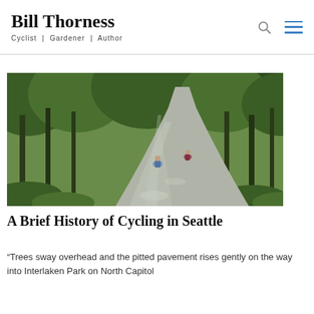Bill Thorness — Cyclist | Gardener | Author
[Figure (photo): Two cyclists riding along a winding tree-lined road through a lush green forest park, with dappled light on the pavement.]
A Brief History of Cycling in Seattle
“Trees sway overhead and the pitted pavement rises gently on the way into Interlaken Park on North Capitol